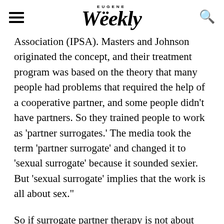Eugene Weekly
Association (IPSA). Masters and Johnson originated the concept, and their treatment program was based on the theory that many people had problems that required the help of a cooperative partner, and some people didn't have partners. So they trained people to work as 'partner surrogates.' The media took the term 'partner surrogate' and changed it to 'sexual surrogate' because it sounded sexier. But 'sexual surrogate' implies that the work is all about sex."
So if surrogate partner therapy is not about sex —or not all about sex—then what is it primarily